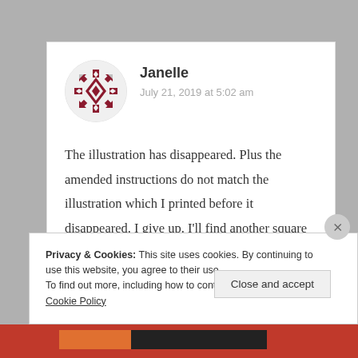[Figure (illustration): Circular avatar with geometric diamond/square pattern in dark red and white]
Janelle
July 21, 2019 at 5:02 am
The illustration has disappeared. Plus the amended instructions do not match the illustration which I printed before it disappeared. I give up. I'll find another square to do or create my own pattern.
★ Like
Privacy & Cookies: This site uses cookies. By continuing to use this website, you agree to their use.
To find out more, including how to control cookies, see here: Cookie Policy
Close and accept